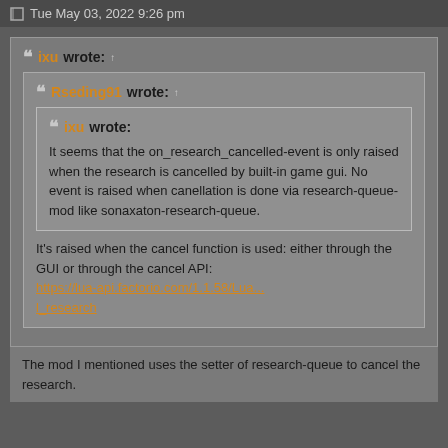Tue May 03, 2022 9:26 pm
ixu wrote: ↑

Rseding91 wrote: ↑

ixu wrote:
It seems that the on_research_cancelled-event is only raised when the research is cancelled by built-in game gui. No event is raised when canellation is done via research-queue-mod like sonaxaton-research-queue.

It's raised when the cancel function is used: either through the GUI or through the cancel API: https://lua-api.factorio.com/1.1.58/Lua...l_research
The mod I mentioned uses the setter of research-queue to cancel the research.